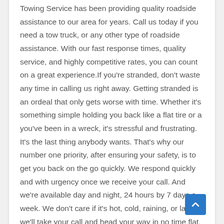Towing Service has been providing quality roadside assistance to our area for years. Call us today if you need a tow truck, or any other type of roadside assistance. With our fast response times, quality service, and highly competitive rates, you can count on a great experience.If you're stranded, don't waste any time in calling us right away. Getting stranded is an ordeal that only gets worse with time. Whether it's something simple holding you back like a flat tire or a you've been in a wreck, it's stressful and frustrating. It's the last thing anybody wants. That's why our number one priority, after ensuring your safety, is to get you back on the go quickly. We respond quickly and with urgency once we receive your call. And we're available day and night, 24 hours by 7 days a week. We don't care if it's hot, cold, raining, or late, we'll take your call and head your way in no time flat. Union City Towing NJ is always available and ready to assist you.